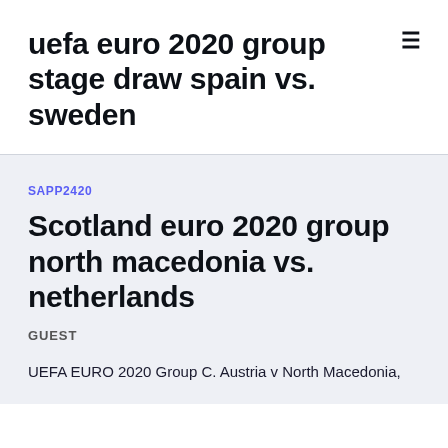uefa euro 2020 group stage draw spain vs. sweden
SAPP2420
Scotland euro 2020 group north macedonia vs. netherlands
GUEST
UEFA EURO 2020 Group C. Austria v North Macedonia,